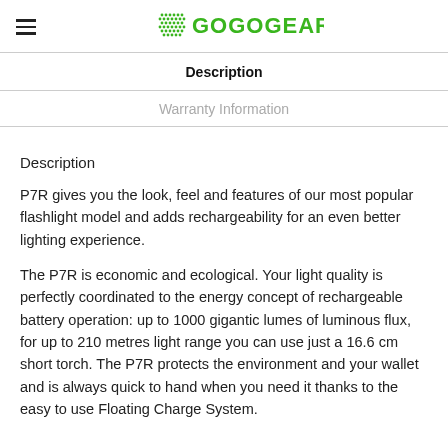GOGOGEAR
Description
Warranty Information
Description
P7R gives you the look, feel and features of our most popular flashlight model and adds rechargeability for an even better lighting experience.
The P7R is economic and ecological. Your light quality is perfectly coordinated to the energy concept of rechargeable battery operation: up to 1000 gigantic lumes of luminous flux, for up to 210 metres light range you can use just a 16.6 cm short torch. The P7R protects the environment and your wallet and is always quick to hand when you need it thanks to the easy to use Floating Charge System.